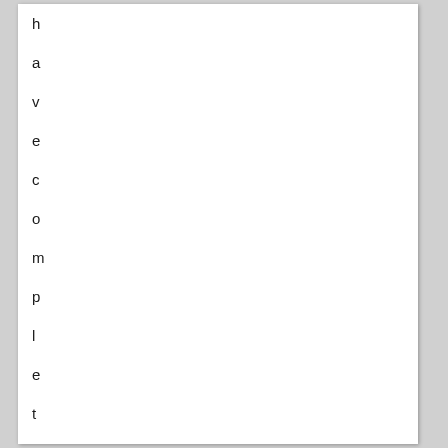have completed your exams by u